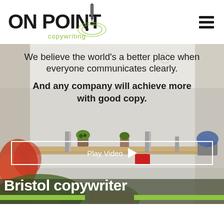[Figure (logo): ON POINT copywriting logo with stylized pen/exclamation mark and green radar circle graphic]
[Figure (photo): Office interior with text on wall: We believe the world's a better place when everyone communicates clearly. And any company will achieve more with good copy. Flowers and plants on a shelf in foreground.]
Play Video
Bristol copywriter